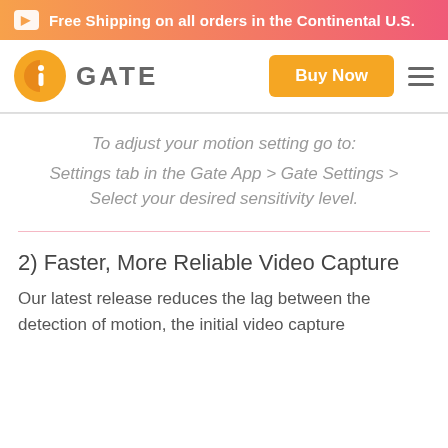Free Shipping on all orders in the Continental U.S.
[Figure (logo): Gate app logo: orange circle with stylized 'i' icon and the word GATE in grey, plus orange Buy Now button and hamburger menu]
To adjust your motion setting go to:
Settings tab in the Gate App > Gate Settings > Select your desired sensitivity level.
2) Faster, More Reliable Video Capture
Our latest release reduces the lag between the detection of motion, the initial video capture